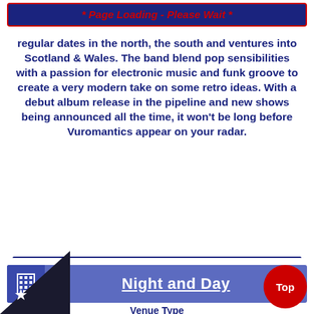* Page Loading - Please Wait *
regular dates in the north, the south and ventures into Scotland & Wales. The band blend pop sensibilities with a passion for electronic music and funk groove to create a very modern take on some retro ideas. With a debut album release in the pipeline and new shows being announced all the time, it won’t be long before Vuromantics appear on your radar.
Night and Day
Venue Type
Bar
[Figure (photo): Exterior photograph of the Night and Day bar/venue showing the storefront with signage]